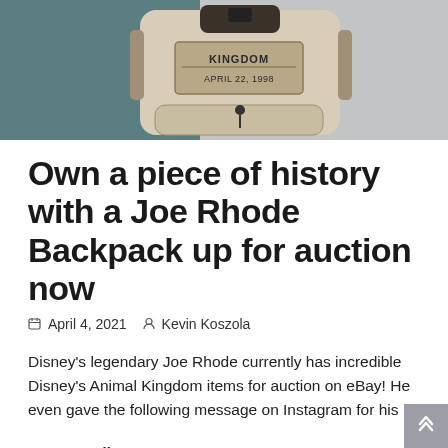[Figure (photo): A tan/beige Animal Kingdom backpack with 'KINGDOM' and 'APRIL 22, 1998' text visible on a label, shown against a teal/gray background.]
Own a piece of history with a Joe Rhode Backpack up for auction now
April 4, 2021  Kevin Koszola
Disney's legendary Joe Rhode currently has incredible Disney's Animal Kingdom items for auction on eBay! He even gave the following message on Instagram for his
Keep Reading...